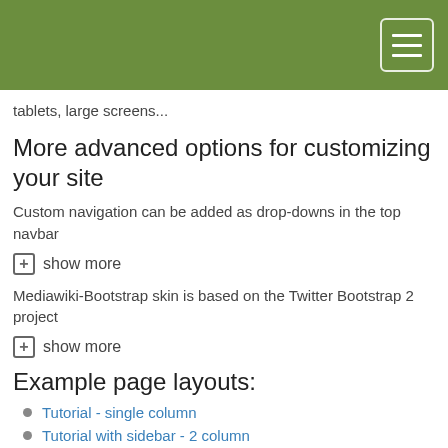tablets, large screens...
More advanced options for customizing your site
Custom navigation can be added as drop-downs in the top navbar
+ show more
Mediawiki-Bootstrap skin is based on the Twitter Bootstrap 2 project
+ show more
Example page layouts:
Tutorial - single column
Tutorial with sidebar - 2 column
Recommended Browser
This new version of mediawiki will work under all modern browsers, however, if you plan to be an active editor we recommend using Chrome as the